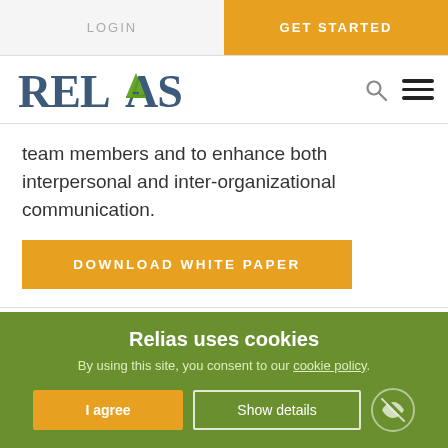LOGIN | GET STARTED
[Figure (logo): Relias logo with green arrow accent on the A]
team members and to enhance both interpersonal and inter-organizational communication.
DOWNLOAD WHITE PAPER
Share:
Relias uses cookies
By using this site, you consent to our cookie policy.
I agree | Show details